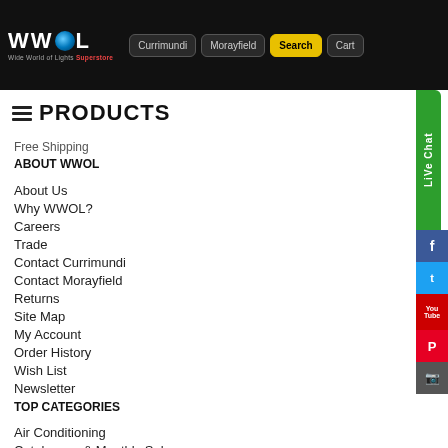[Figure (logo): WWOL Wide World of Lights Superstore logo with globe icon, navigation buttons: Currimundi, Morayfield, Search (yellow), Cart]
PRODUCTS
Free Shipping
ABOUT WWOL
About Us
Why WWOL?
Careers
Trade
Contact Currimundi
Contact Morayfield
Returns
Site Map
My Account
Order History
Wish List
Newsletter
TOP CATEGORIES
Air Conditioning
Catalogues & Monthly Sales